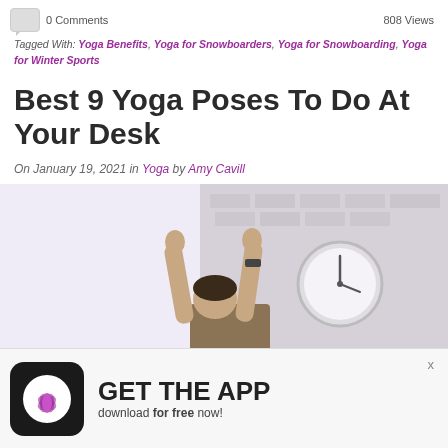0 Comments
808 Views
Tagged With: Yoga Benefits, Yoga for Snowboarders, Yoga for Snowboarding, Yoga for Winter Sports
Best 9 Yoga Poses To Do At Your Desk
On January 19, 2021 in Yoga by Amy Cavill
[Figure (photo): Person sitting at a desk stretching arms upward toward the ceiling, with a round clock on a brick wall in the background]
[Figure (infographic): App download advertisement banner with lotus flower logo icon, text GET THE APP, download for free now!]